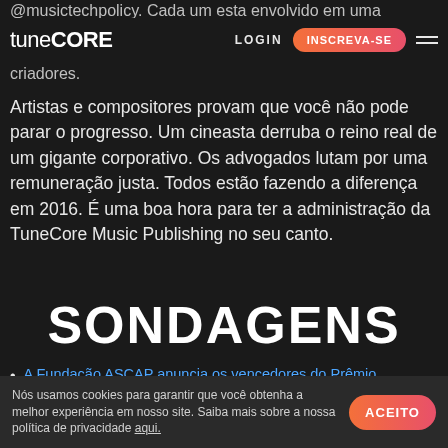@musictechpolicy. Cada um esta envolvido em uma
tuneCORE  LOGIN  INSCREVA-SE
criadores.
Artistas e compositores provam que você não pode parar o progresso. Um cineasta derruba o reino real de um gigante corporativo. Os advogados lutam por uma remuneração justa. Todos estão fazendo a diferença em 2016. É uma boa hora para ter a administração da TuneCore Music Publishing no seu canto.
SONDAGENS
A Fundação ASCAP anuncia os vencedores do Prêmio
Nós usamos cookies para garantir que você obtenha a melhor experiência em nosso site. Saiba mais sobre a nossa política de privacidade aqui.